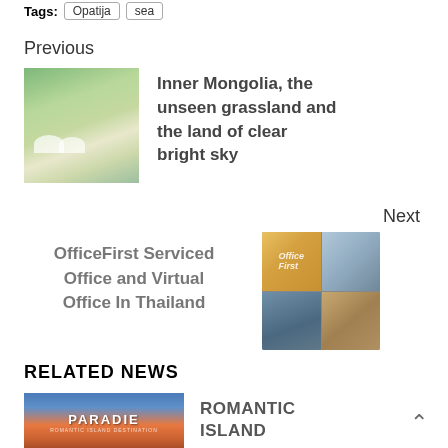Tags: Opatija sea
Previous
[Figure (photo): Aerial view of dome-shaped tents on green grassland with misty sky — Inner Mongolia landscape]
Inner Mongolia, the unseen grassland and the land of clear bright sky
Next
[Figure (photo): Collage of four OfficeFirst images: orange signage, office workers, building exterior, modern office interior]
OfficeFirst Serviced Office and Virtual Office In Thailand
RELATED NEWS
[Figure (photo): Paradise island destination promotional image with golden sunset over ocean and text PARADIE]
ROMANTIC ISLAND